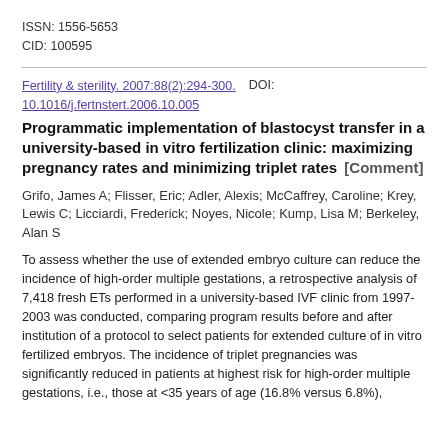ISSN: 1556-5653
CID: 100595
Fertility & sterility. 2007:88(2):294-300.  DOI: 10.1016/j.fertnstert.2006.10.005
Programmatic implementation of blastocyst transfer in a university-based in vitro fertilization clinic: maximizing pregnancy rates and minimizing triplet rates  [Comment]
Grifo, James A; Flisser, Eric; Adler, Alexis; McCaffrey, Caroline; Krey, Lewis C; Licciardi, Frederick; Noyes, Nicole; Kump, Lisa M; Berkeley, Alan S
To assess whether the use of extended embryo culture can reduce the incidence of high-order multiple gestations, a retrospective analysis of 7,418 fresh ETs performed in a university-based IVF clinic from 1997-2003 was conducted, comparing program results before and after institution of a protocol to select patients for extended culture of in vitro fertilized embryos. The incidence of triplet pregnancies was significantly reduced in patients at highest risk for high-order multiple gestations, i.e., those at <35 years of age (16.8% versus 6.8%),